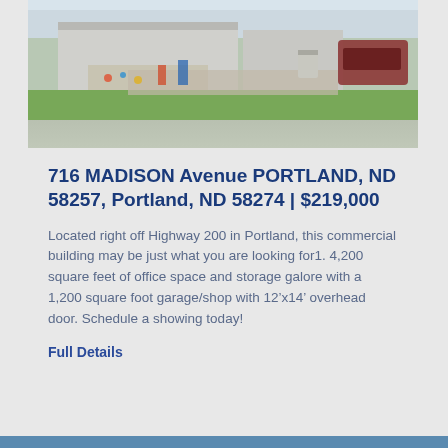[Figure (photo): Exterior photo of a commercial building in Portland, ND, showing a parking area, green grass, and various items/equipment outside the building, taken from street level.]
716 MADISON Avenue PORTLAND, ND 58257, Portland, ND 58274 | $219,000
Located right off Highway 200 in Portland, this commercial building may be just what you are looking for1. 4,200 square feet of office space and storage galore with a 1,200 square foot garage/shop with 12’x14’ overhead door. Schedule a showing today!
Full Details